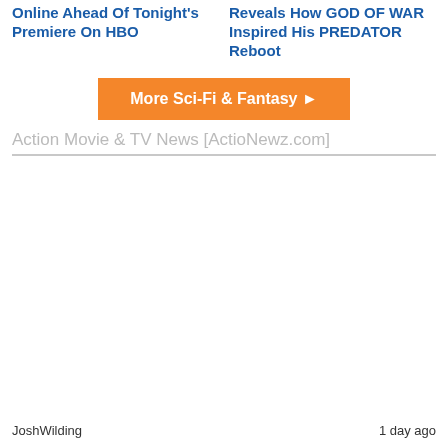Online Ahead Of Tonight's Premiere On HBO
Reveals How GOD OF WAR Inspired His PREDATOR Reboot
More Sci-Fi & Fantasy ►
Action Movie & TV News [ActioNewz.com]
JoshWilding   1 day ago